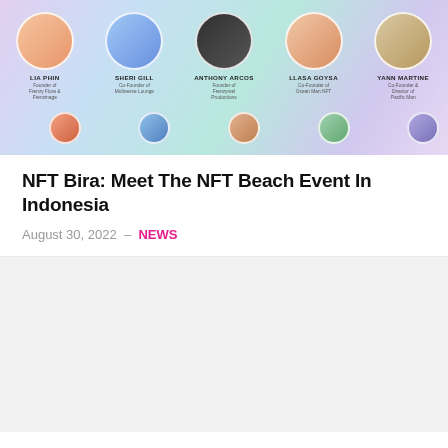[Figure (photo): Banner image of NFT Bira beach event speakers in Indonesia. Five circular portrait photos of speakers arranged in a row on a colorful gradient background. Names listed: LIA PHIN (Founder of Frenzy Flora & Frenzinage), SHERI GILL (Co-Founder of Multiverse Lounge), ANTHONY ARCOS (Founder of Frenzymel Productions), LLASA GOYSA (Co-Founder of Ocean Man NFT), YANN MARTINE (Co-Founder & Director of Pacific Man). Partial row of additional speaker circles visible below.]
NFT Bira: Meet The NFT Beach Event In Indonesia
August 30, 2022  –  NEWS
[Figure (photo): Image placeholder/thumbnail for Rarible GM Mfer Specialty Coffee article — appears as a light gray rectangle.]
Rarible Launches 'GM Mfer' Specialty Coffee For NFT